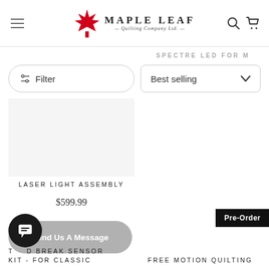[Figure (logo): Maple Leaf Quilting Company Ltd. logo with red maple leaf and text]
SPECTRE LED FOR M
Filter
Best selling
LASER LIGHT ASSEMBLY
$599.99
Pre-Order
Send Us A Message
[Figure (illustration): Chat bubble icon in black circle]
THREAD BREAK SENSOR KIT - FOR CLASSIC
FREE MOTION QUILTING